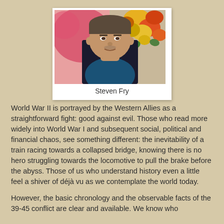[Figure (photo): Photograph of a middle-aged man wearing a dark jacket and blue shirt, with colorful flowers in the background. Caption reads 'Steven Fry'.]
Steven Fry
World War II is portrayed by the Western Allies as a straightforward fight: good against evil. Those who read more widely into World War I and subsequent social, political and financial chaos, see something different: the inevitability of a train racing towards a collapsed bridge, knowing there is no hero struggling towards the locomotive to pull the brake before the abyss. Those of us who understand history even a little feel a shiver of déjà vu as we contemplate the world today.
However, the basic chronology and the observable facts of the 39-45 conflict are clear and available. We know who invaded whom, the nature of the occupation,